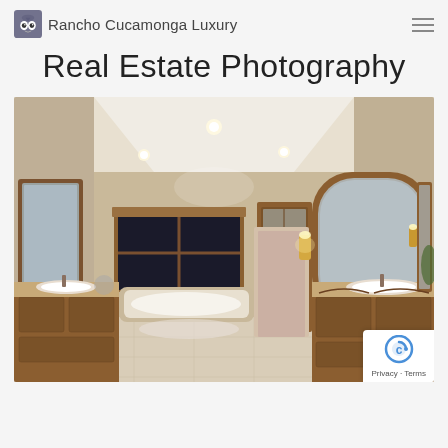Rancho Cucamonga Luxury
Real Estate Photography
[Figure (photo): Interior photo of a large luxury master bathroom with ornate dark wood cabinetry, granite countertops, double sinks, large arched mirrors, a soaking tub, recessed lighting, and warm beige/tan walls. The room features high vaulted ceilings and warm ambient lighting.]
Privacy · Terms